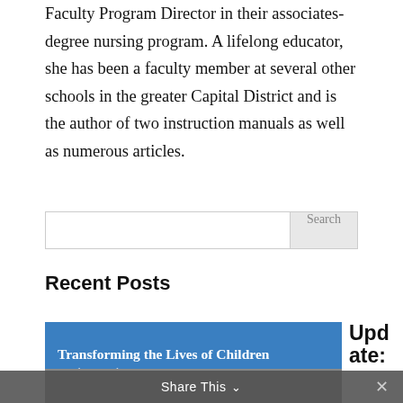Faculty Program Director in their associates-degree nursing program. A lifelong educator, she has been a faculty member at several other schools in the greater Capital District and is the author of two instruction manuals as well as numerous articles.
[Figure (screenshot): Search box with text input area and 'Search' button on the right, gray background styling]
Recent Posts
[Figure (photo): Blue banner image with text 'Transforming the Lives of Children in Ghana, Liberia & Sierra Leone' with people visible at the bottom portion]
Upd ate:
Share This